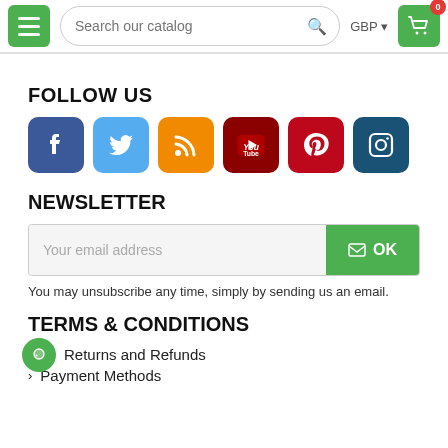Search our catalog | GBP | Cart (0)
FOLLOW US
[Figure (illustration): Social media icons: Facebook (blue), Twitter (light blue), RSS (orange), YouTube (dark red), Pinterest (red), Instagram (dark blue)]
NEWSLETTER
[Figure (screenshot): Email subscription form with 'Your email address' placeholder and green OK button with envelope icon]
You may unsubscribe any time, simply by sending us an email.
TERMS & CONDITIONS
Returns and Refunds
Payment Methods